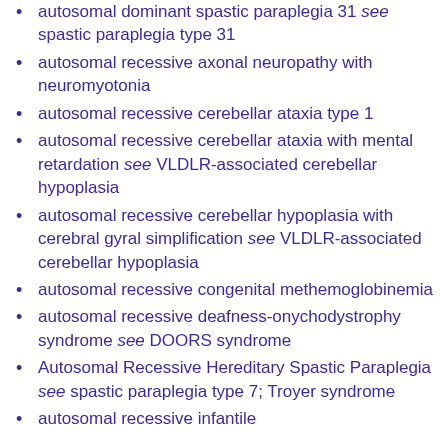autosomal dominant spastic paraplegia 31 see spastic paraplegia type 31
autosomal recessive axonal neuropathy with neuromyotonia
autosomal recessive cerebellar ataxia type 1
autosomal recessive cerebellar ataxia with mental retardation see VLDLR-associated cerebellar hypoplasia
autosomal recessive cerebellar hypoplasia with cerebral gyral simplification see VLDLR-associated cerebellar hypoplasia
autosomal recessive congenital methemoglobinemia
autosomal recessive deafness-onychodystrophy syndrome see DOORS syndrome
Autosomal Recessive Hereditary Spastic Paraplegia see spastic paraplegia type 7; Troyer syndrome
autosomal recessive infantile